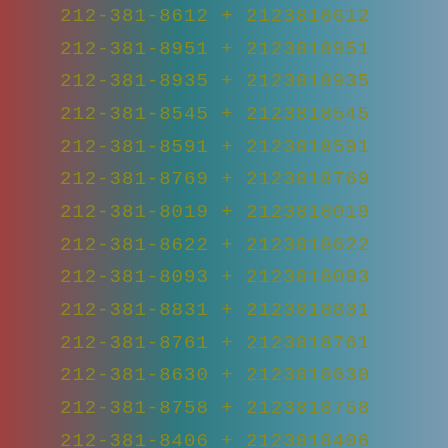212-381-8612 + 2123818612
212-381-8951 + 2123818951
212-381-8935 + 2123818935
212-381-8545 + 2123818545
212-381-8591 + 2123818591
212-381-8769 + 2123818769
212-381-8019 + 2123818019
212-381-8622 + 2123818622
212-381-8093 + 2123818093
212-381-8831 + 2123818831
212-381-8761 + 2123818761
212-381-8630 + 2123818630
212-381-8758 + 2123818758
212-381-8406 + 2123818406
212-381-8120 + 2123818120
212-381-8284 + 2123818284
212-381-8234 + 2123818234
212-381-8945 + 2123818945
212-381-8569 + 2123818569
212-381-8717 + 2123818717
212-381-8317 + 2123818317
212-381-8232 + 2123818232
212-381-8055 + 2123818055